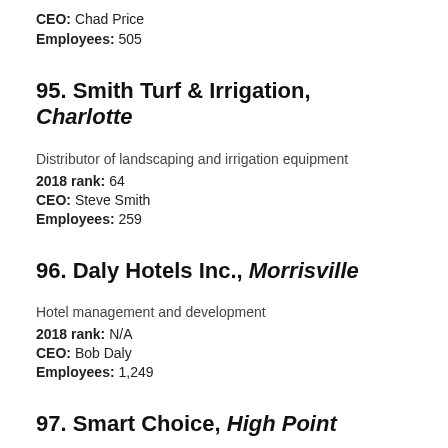CEO: Chad Price
Employees: 505
95. Smith Turf & Irrigation, Charlotte
Distributor of landscaping and irrigation equipment
2018 rank: 64
CEO: Steve Smith
Employees: 259
96. Daly Hotels Inc., Morrisville
Hotel management and development
2018 rank: N/A
CEO: Bob Daly
Employees: 1,249
97. Smart Choice, High Point